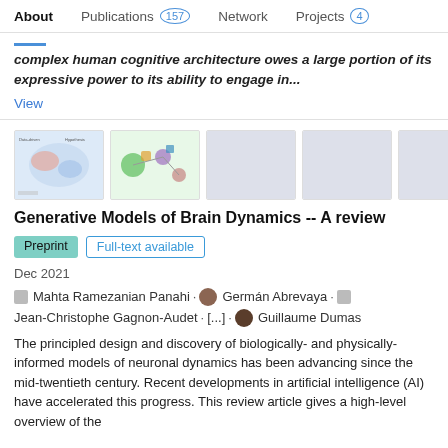About  Publications 157  Network  Projects 4
complex human cognitive architecture owes a large portion of its expressive power to its ability to engage in...
View
[Figure (illustration): Five thumbnail images of publication figures, first two showing colorful scientific diagrams of brain/neural models, last three are blank placeholders]
Generative Models of Brain Dynamics -- A review
Preprint  Full-text available
Dec 2021
Mahta Ramezanian Panahi · Germán Abrevaya · Jean-Christophe Gagnon-Audet · [...] · Guillaume Dumas
The principled design and discovery of biologically- and physically-informed models of neuronal dynamics has been advancing since the mid-twentieth century. Recent developments in artificial intelligence (AI) have accelerated this progress. This review article gives a high-level overview of the